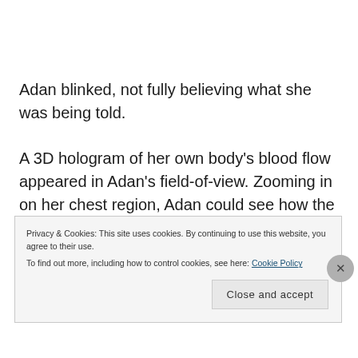Adan blinked, not fully believing what she was being told.
A 3D hologram of her own body’s blood flow appeared in Adan’s field-of-view. Zooming in on her chest region, Adan could see how the red crystal was completely obstructing the path of her aorta.
Privacy & Cookies: This site uses cookies. By continuing to use this website, you agree to their use.
To find out more, including how to control cookies, see here: Cookie Policy
Close and accept